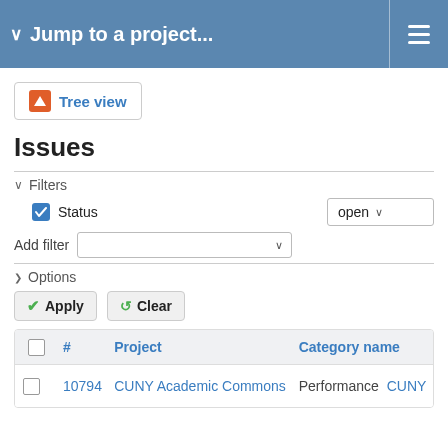Jump to a project...
[Figure (screenshot): Tree view button with orange icon]
Issues
Filters
Status  open
Add filter
Options
Apply   Clear
|  | # | Project | Category name |
| --- | --- | --- | --- |
|  | 10794 | CUNY Academic Commons | Performance  CUNY |